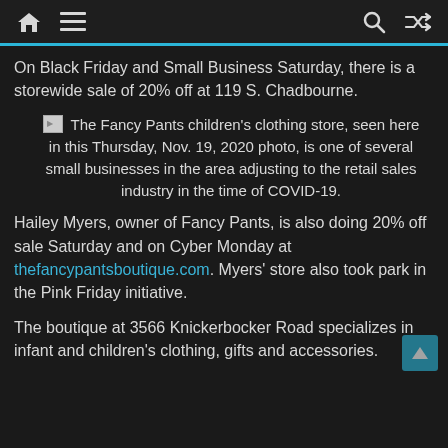Navigation bar with home, menu, search, and shuffle icons
On Black Friday and Small Business Saturday, there is a storewide sale of 20% off at 119 S. Chadbourne.
The Fancy Pants children's clothing store, seen here in this Thursday, Nov. 19, 2020 photo, is one of several small businesses in the area adjusting to the retail sales industry in the time of COVID-19.
Hailey Myers, owner of Fancy Pants, is also doing 20% off sale Saturday and on Cyber Monday at thefancypantsboutique.com. Myers' store also took park in the Pink Friday initiative.
The boutique at 3566 Knickerbocker Road specializes in infant and children's clothing, gifts and accessories.